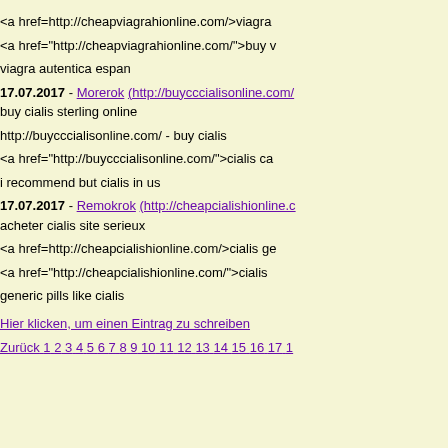<a href=http://cheapviagrahionline.com/>viagra
<a href="http://cheapviagrahionline.com/">buy v
viagra autentica espan
17.07.2017 - Morerok (http://buycccialisonline.com/ buy cialis sterling online
http://buycccialisonline.com/ - buy cialis
<a href="http://buycccialisonline.com/">cialis ca
i recommend but cialis in us
17.07.2017 - Remokrok (http://cheapcialishionline.c acheter cialis site serieux
<a href=http://cheapcialishionline.com/>cialis ge
<a href="http://cheapcialishionline.com/">cialis
generic pills like cialis
Hier klicken, um einen Eintrag zu schreiben
Zurück 1 2 3 4 5 6 7 8 9 10 11 12 13 14 15 16 17 1